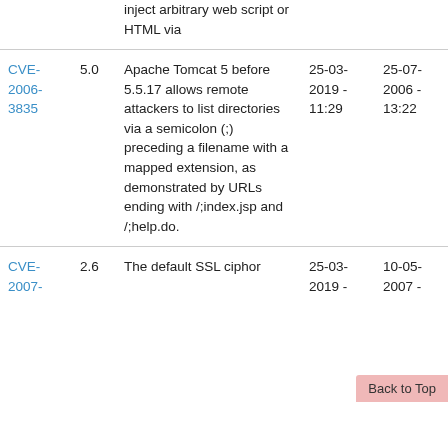| CVE | Score | Description | Date Added | Date Published |
| --- | --- | --- | --- | --- |
|  |  | inject arbitrary web script or HTML via |  |  |
| CVE-2006-3835 | 5.0 | Apache Tomcat 5 before 5.5.17 allows remote attackers to list directories via a semicolon (;) preceding a filename with a mapped extension, as demonstrated by URLs ending with /;index.jsp and /;help.do. | 25-03-2019 - 11:29 | 25-07-2006 - 13:22 |
| CVE-2007- | 2.6 | The default SSL cipher... | 25-03-2019 - | 10-05-2007 - |